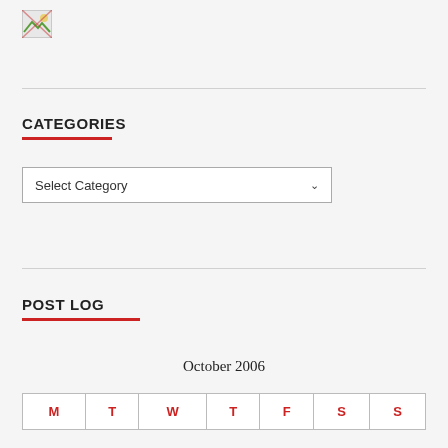[Figure (logo): Small broken/placeholder image icon in top left]
CATEGORIES
[Figure (other): Select Category dropdown UI element]
POST LOG
October 2006
| M | T | W | T | F | S | S |
| --- | --- | --- | --- | --- | --- | --- |